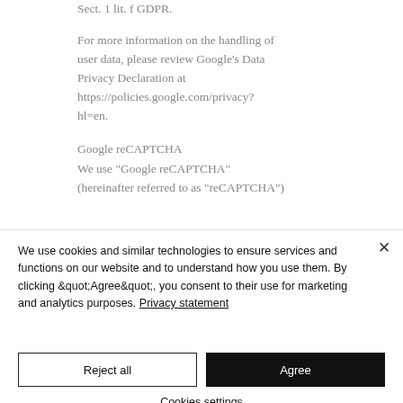Sect. 1 lit. f GDPR.
For more information on the handling of user data, please review Google's Data Privacy Declaration at https://policies.google.com/privacy?hl=en.
Google reCAPTCHA
We use "Google reCAPTCHA" (hereinafter referred to as "reCAPTCHA")
We use cookies and similar technologies to ensure services and functions on our website and to understand how you use them. By clicking &quot;Agree&quot;, you consent to their use for marketing and analytics purposes. Privacy statement
Reject all
Agree
Cookies settings